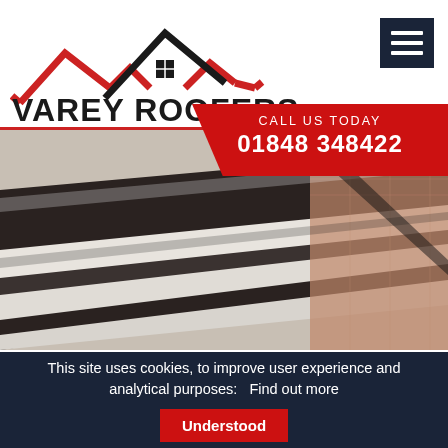[Figure (logo): Varey Roofers logo: stylized red and black roofline/house silhouette above bold text VAREY ROOFERS]
[Figure (other): Dark navy hamburger menu icon (three horizontal white lines on dark background)]
CALL US TODAY
01848 348422
[Figure (photo): Close-up photograph of a dark metal/plastic roof gutter and fascia board against brick wall, diagonal perspective]
This site uses cookies, to improve user experience and analytical purposes:   Find out more
Understood